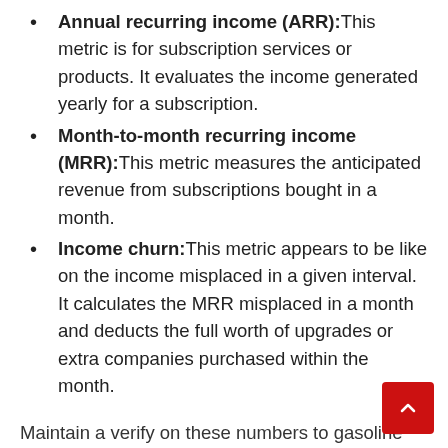Annual recurring income (ARR): This metric is for subscription services or products. It evaluates the income generated yearly for a subscription.
Month-to-month recurring income (MRR): This metric measures the anticipated revenue from subscriptions bought in a month.
Income churn: This metric appears to be like on the income misplaced in a given interval. It calculates the MRR misplaced in a month and deducts the full worth of upgrades or extra companies purchased within the month.
Maintain a verify on these numbers to gasoline revenue-driven development for your